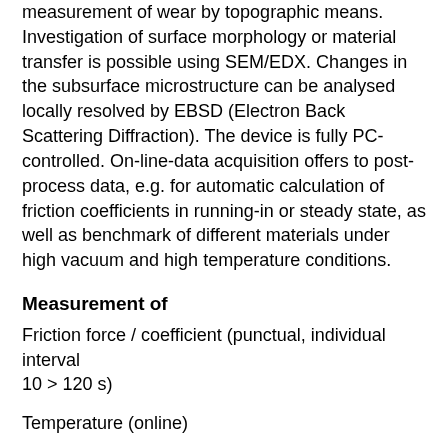measurement of wear by topographic means. Investigation of surface morphology or material transfer is possible using SEM/EDX. Changes in the subsurface microstructure can be analysed locally resolved by EBSD (Electron Back Scattering Diffraction). The device is fully PC-controlled. On-line-data acquisition offers to post-process data, e.g. for automatic calculation of friction coefficients in running-in or steady state, as well as benchmark of different materials under high vacuum and high temperature conditions.
Measurement of
Friction force / coefficient (punctual, individual interval
10 > 120 s)
Temperature (online)